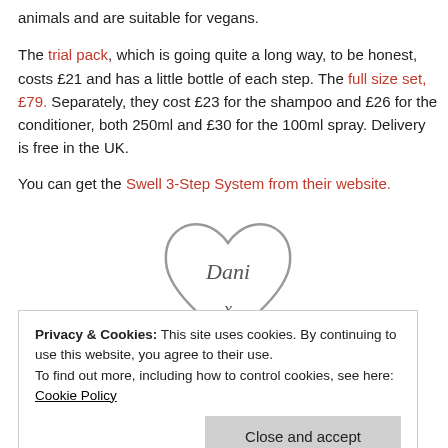animals and are suitable for vegans.
The trial pack, which is going quite a long way, to be honest, costs £21 and has a little bottle of each step. The full size set, £79. Separately, they cost £23 for the shampoo and £26 for the conditioner, both 250ml and £30 for the 100ml spray. Delivery is free in the UK.
You can get the Swell 3-Step System from their website.
[Figure (illustration): A heart-shaped outline containing cursive text 'Dani' and 'x' below it, rendered in gray.]
Privacy & Cookies: This site uses cookies. By continuing to use this website, you agree to their use. To find out more, including how to control cookies, see here: Cookie Policy
Close and accept